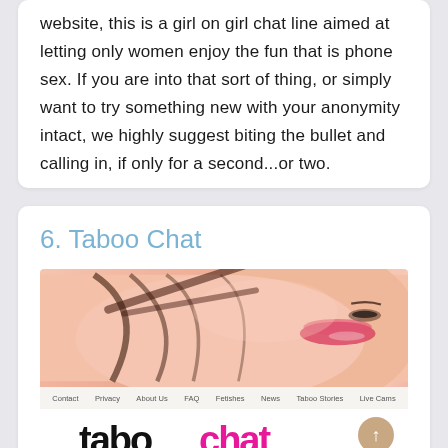website, this is a girl on girl chat line aimed at letting only women enjoy the fun that is phone sex. If you are into that sort of thing, or simply want to try something new with your anonymity intact, we highly suggest biting the bullet and calling in, if only for a second...or two.
6. Taboo Chat
[Figure (screenshot): Screenshot of the Taboo Chat website showing a close-up photo of a woman's face with red lipstick and wet dark hair, a navigation bar with links (Contact, Privacy, About Us, FAQ, Fetishes, News, Taboo Stories, Live Cams), and the bottom portion of the taboo chat logo in black and pink text.]